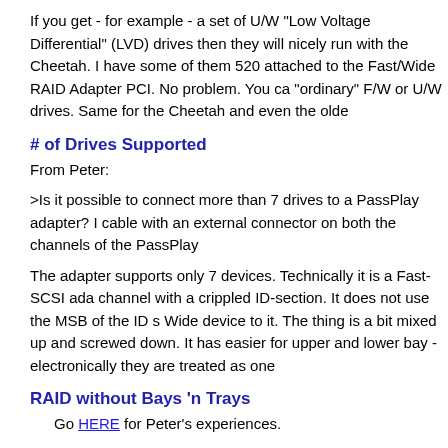If you get - for example - a set of U/W "Low Voltage Differential" (LVD) drives then they will nicely run with the Cheetah. I have some of them 520 attached to the Fast/Wide RAID Adapter PCI. No problem. You ca "ordinary" F/W or U/W drives. Same for the Cheetah and even the olde
# of Drives Supported
From Peter:
>Is it possible to connect more than 7 drives to a PassPlay adapter? I cable with an external connector on both the channels of the PassPlay
The adapter supports only 7 devices. Technically it is a Fast-SCSI ada channel with a crippled ID-section. It does not use the MSB of the ID s Wide device to it. The thing is a bit mixed up and screwed down. It has easier for upper and lower bay - electronically they are treated as one
RAID without Bays 'n Trays
Go HERE for Peter's experiences.
Passplay under W95
First, I am shocked. But, live and let live...